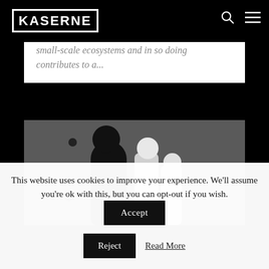KASERNE
small-scale ecosystems and in so doing contributes to a...
[Figure (photo): Photograph of abstract black and white sculptures resembling figures or chess pieces mounted on a wall, shot with shallow depth of field]
This website uses cookies to improve your experience. We'll assume you're ok with this, but you can opt-out if you wish. Accept Reject Read More